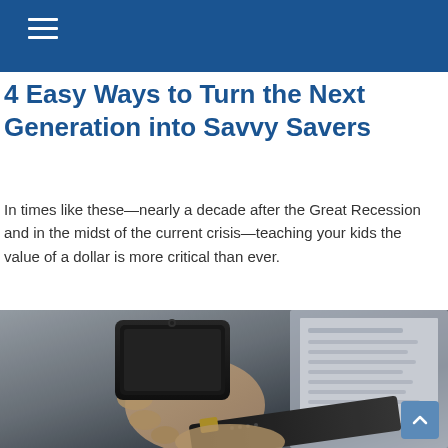4 Easy Ways to Turn the Next Generation into Savvy Savers
In times like these—nearly a decade after the Great Recession and in the midst of the current crisis—teaching your kids the value of a dollar is more critical than ever.
[Figure (photo): A person holding a smartphone in one hand and a credit card in the other hand, with a laptop visible in the background. The image is slightly blurred/bokeh style.]